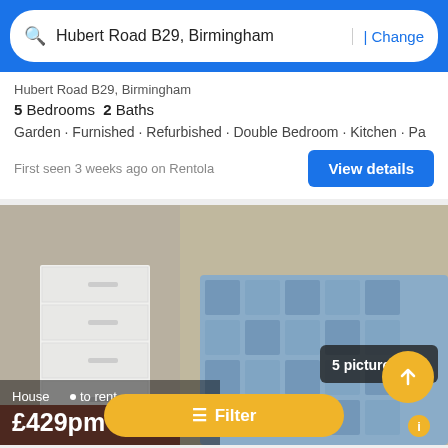Hubert Road B29, Birmingham | Change
Hubert Road B29, Birmingham
5 Bedrooms  2 Baths
Garden · Furnished · Refurbished · Double Bedroom · Kitchen · Pa
First seen 3 weeks ago on Rentola
[Figure (photo): Bedroom photo showing a bed with blue patterned bedding and a white chest of drawers]
House · to rent
£429pm
5 pictures ›
Filter
House to let, Selly Oak
Hubert Road B29, Birmingham